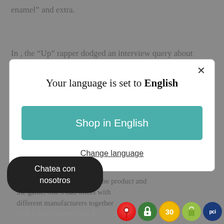enamel” and extra.
In , the “Up” rapper dodged an interview query about
[Figure (screenshot): A modal dialog box on a website with the message 'Your language is set to English', a teal 'Shop in English' button, and a 'Change language' text link. A close (X) button is in the top right corner.]
Cardi is not any stranger to the product and ine game. She s had offers with different manufacturers together with a latest accord with Ro ok it in de.
Chatea con nosotros